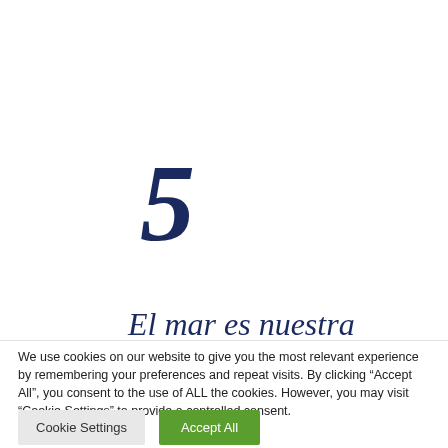5
El mar es nuestra mejor piscina
We use cookies on our website to give you the most relevant experience by remembering your preferences and repeat visits. By clicking “Accept All”, you consent to the use of ALL the cookies. However, you may visit “Cookie Settings” to provide a controlled consent.
Cookie Settings    Accept All